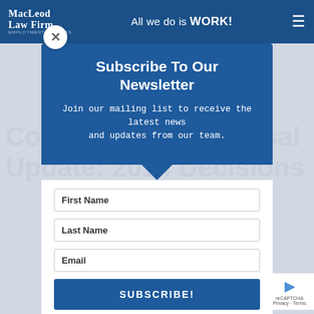MacLeod Law Firm — All we do is WORK!
Subscribe To Our Newsletter
Join our mailing list to receive the latest news and updates from our team.
First Name
Last Name
Email
SUBSCRIBE!
Constructive Dismissal Update: 2014 Decisions
by MacLeod | Nov 21, 2014 | For Employers